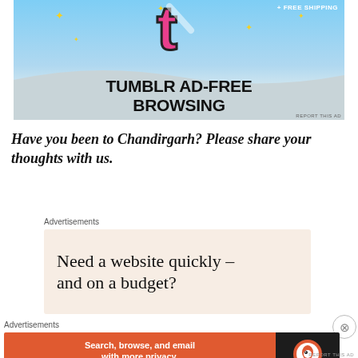[Figure (screenshot): Tumblr ad showing pink 't' logo on blue sky background with text 'TUMBLR AD-FREE BROWSING' and '+ FREE SHIPPING' banner at top]
Have you been to Chandirgarh? Please share your thoughts with us.
Advertisements
[Figure (screenshot): Advertisement with light peach background showing text 'Need a website quickly – and on a budget?']
Advertisements
[Figure (screenshot): DuckDuckGo advertisement with orange background: 'Search, browse, and email with more privacy. All in One Free App' with DuckDuckGo logo on dark background]